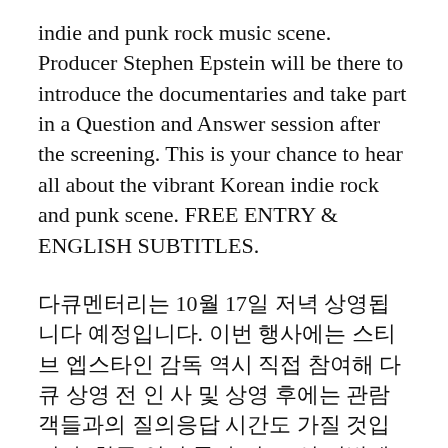indie and punk rock music scene. Producer Stephen Epstein will be there to introduce the documentaries and take part in a Question and Answer session after the screening. This is your chance to hear all about the vibrant Korean indie rock and punk scene. FREE ENTRY & ENGLISH SUBTITLES.
다큐멘터리는 10월 17일 저녁에 상영됩니다 예정입니다. 이번 행사에는 스티브 엡스타인 감독 역시 직접 참여해 다큐 상영 전 인사 및 상영 후에는 관람객들과의 질의응답 시간도 가질 것입니다. 한국 인디 록과 펑크 신 전반에 관한 이야기를 들을 수 있는 소중한 기회니 많은 분들의 참석 바랍니다. 무료 입장에 영문 자막 제공. 많이들 오세요!